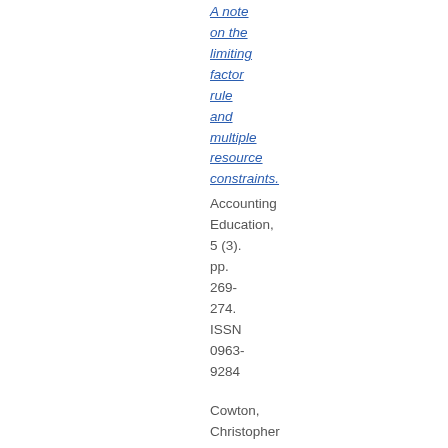A note on the limiting factor rule and multiple resource constraints.
Accounting Education, 5 (3). pp. 269-274. ISSN 0963-9284
Cowton, Christopher